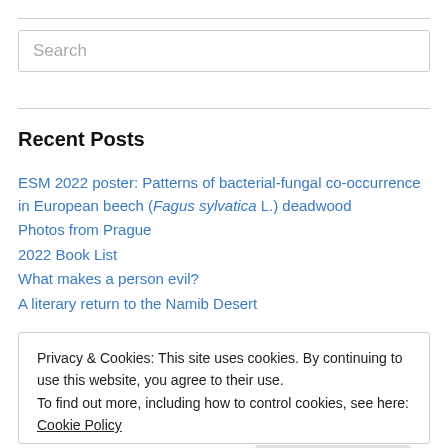[Figure (other): Search input box with placeholder text 'Search']
Recent Posts
ESM 2022 poster: Patterns of bacterial-fungal co-occurrence in European beech (Fagus sylvatica L.) deadwood
Photos from Prague
2022 Book List
What makes a person evil?
A literary return to the Namib Desert
Privacy & Cookies: This site uses cookies. By continuing to use this website, you agree to their use.
To find out more, including how to control cookies, see here: Cookie Policy